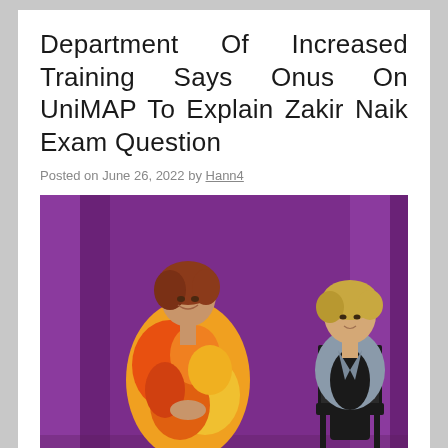Department Of Increased Training Says Onus On UniMAP To Explain Zakir Naik Exam Question
Posted on June 26, 2022 by Hann4
[Figure (photo): Two women on a stage with a purple curtain background. The woman on the left is wearing a colorful orange and yellow outfit and smiling. The woman on the right is seated on a black chair, wearing a grey jacket and dark clothing.]